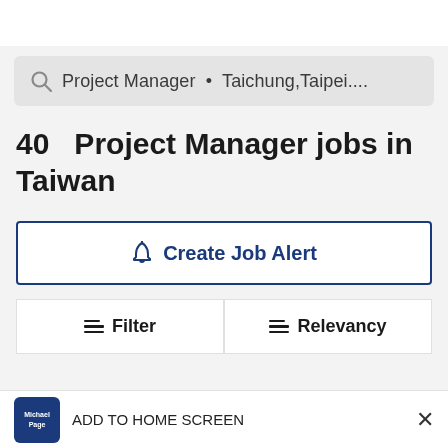[Figure (screenshot): White top navigation bar with centered logo/icon]
Project Manager • Taichung,Taipei....
40  Project Manager jobs in Taiwan
🔔 Create Job Alert
≡ Filter    ≡ Relevancy
ADD TO HOME SCREEN